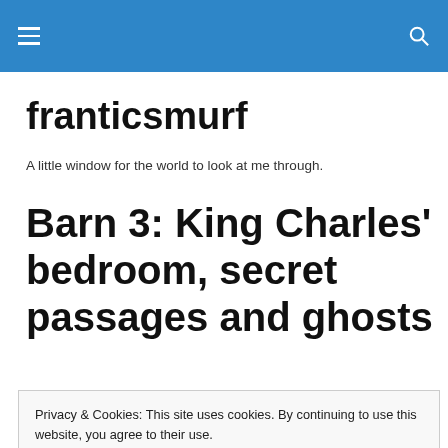franticsmurf – navigation bar
franticsmurf
A little window for the world to look at me through.
Barn 3: King Charles' bedroom, secret passages and ghosts
Privacy & Cookies: This site uses cookies. By continuing to use this website, you agree to their use.
To find out more, including how to control cookies, see here: Cookie Policy
the car with Rufus up onto the hills again for our morning